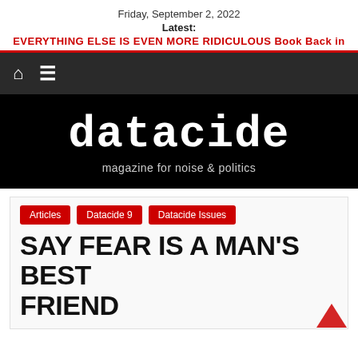Friday, September 2, 2022
Latest:
EVERYTHING ELSE IS EVEN MORE RIDICULOUS Book Back in
[Figure (screenshot): Navigation bar with dark background showing home icon and hamburger menu icon]
[Figure (logo): Datacide magazine logo — white typewriter-font text 'datacide' on black background with tagline 'magazine for noise & politics']
Articles
Datacide 9
Datacide Issues
SAY FEAR IS A MAN'S BEST FRIEND